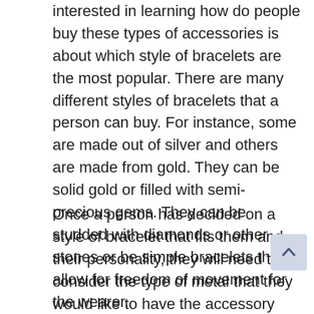interested in learning how do people buy these types of accessories is about which style of bracelets are the most popular. There are many different styles of bracelets that a person can buy. For instance, some are made out of silver and others are made from gold. They can be solid gold or filled with semi-precious gems. They can be studded with diamonds or other stones or be simple bracelets that allow for freedom of movement for the wearer.
Once a person has decided on a style of bracelet that fits them and their personality, they will need to consider the type of metal that they would like to have the accessory made out of. Some metals are more durable than others. There are some that are more likely to break or chip easier than others. Those that are stronger will be a bit more expensive. For this reason, the buyer should consider this aspect carefully before purchasing the